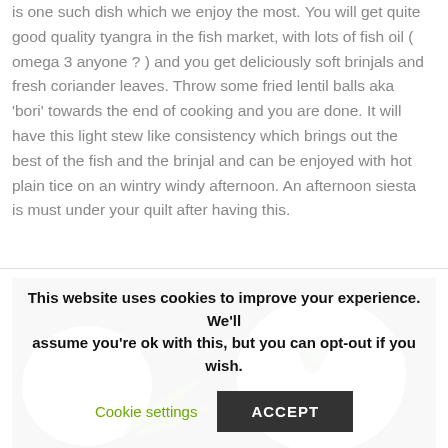is one such dish which we enjoy the most. You will get quite good quality tyangra in the fish market, with lots of fish oil ( omega 3 anyone ? ) and you get deliciously soft brinjals and fresh coriander leaves. Throw some fried lentil balls aka 'bori' towards the end of cooking and you are done. It will have this light stew like consistency which brings out the best of the fish and the brinjal and can be enjoyed with hot plain tice on an wintry windy afternoon. An afternoon siesta is must under your quilt after having this.
[Figure (photo): A food photograph showing two white bowls on a dark textured background. The right bowl contains white rice garnished with green herbs. The left bowl is partially visible. Green chili peppers are arranged in the foreground. A watermark reads 'jayatisfoodjourney'.]
This website uses cookies to improve your experience. We'll assume you're ok with this, but you can opt-out if you wish.
Cookie settings   ACCEPT